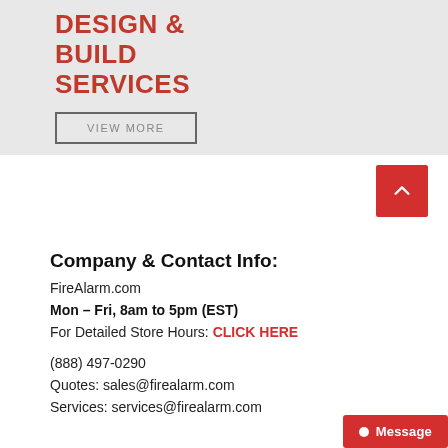DESIGN & BUILD SERVICES
VIEW MORE
[Figure (other): Back to top button - red square with upward chevron arrow]
Company & Contact Info:
FireAlarm.com
Mon – Fri, 8am to 5pm (EST)
For Detailed Store Hours: CLICK HERE
(888) 497-0290
Quotes: sales@firealarm.com
Services: services@firealarm.com
Message